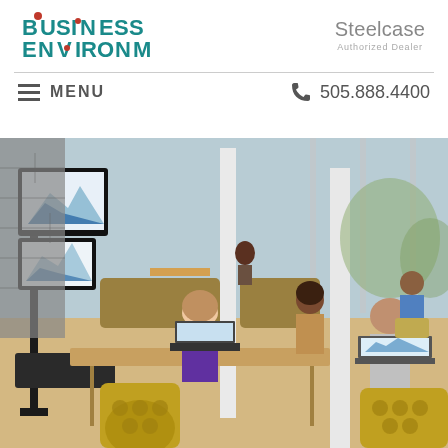[Figure (logo): Business Environments logo with teal text and circle icon]
[Figure (logo): Steelcase Authorized Dealer logo in gray text]
≡ MENU
📞 505.888.4400
[Figure (photo): Office environment with people working collaboratively on laptops and devices in a modern open-plan space with large windows, yellow patterned chairs, and a monitor stand with dual screens]